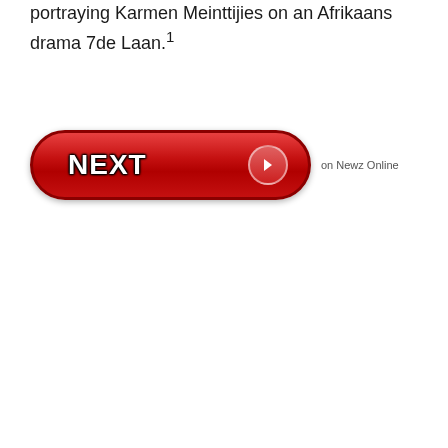portraying Karmen Meinttijies on an Afrikaans drama 7de Laan.¹
[Figure (other): A red pill-shaped NEXT button with white bold text 'NEXT' and a right-arrow circle on the right side, followed by small text 'on Newz Online']